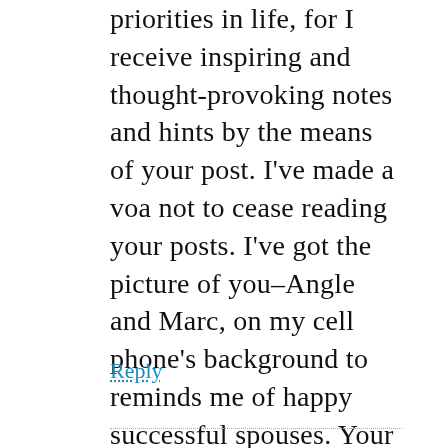priorities in life, for I receive inspiring and thought-provoking notes and hints by the means of your post. I've made a voa not to cease reading your posts. I've got the picture of you–Angle and Marc, on my cell phone's background to reminds me of happy successful spouses. Your perspectives on life keep me moving on with my life and add spice to it.

Your truly faithful follower, I. Hooshmand, from Asia, Iran, Shiraz. 🙂
Reply